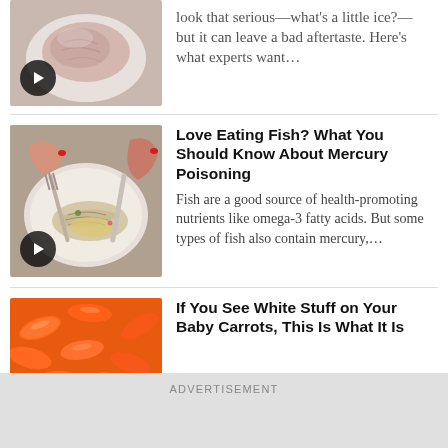[Figure (photo): Frozen raw chicken breast on a plate, with a play button overlay]
look that serious—what's a little ice?—but it can leave a bad aftertaste. Here's what experts want...
[Figure (photo): Person cutting fish on a plate with knife and fork, with a play button overlay]
Love Eating Fish? What You Should Know About Mercury Poisoning
Fish are a good source of health-promoting nutrients like omega-3 fatty acids. But some types of fish also contain mercury,...
[Figure (photo): Pile of baby carrots (orange colored)]
If You See White Stuff on Your Baby Carrots, This Is What It Is
ADVERTISEMENT